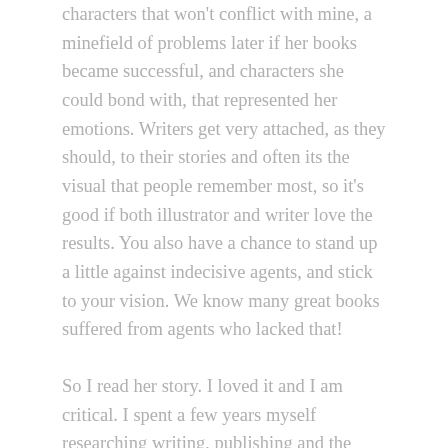characters that won't conflict with mine, a minefield of problems later if her books became successful, and characters she could bond with, that represented her emotions. Writers get very attached, as they should, to their stories and often its the visual that people remember most, so it's good if both illustrator and writer love the results. You also have a chance to stand up a little against indecisive agents, and stick to your vision. We know many great books suffered from agents who lacked that!
So I read her story. I loved it and I am critical. I spent a few years myself researching writing, publishing and the pros and cons of traditional versus self publishing. I must read over 200 children's books, the type this lady hopes to publish. A few famous ones I wouldn't give house room for, but the timing, the PA, the writers string pulling ability does come into play.
So before getting bogged down in commission fees, rights and